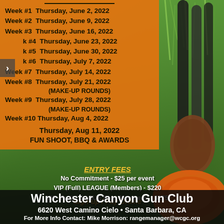[Figure (photo): Background photo of grass with shotgun barrels and an orange clay pigeon target]
Week #1  Thursday, June 2, 2022
Week #2  Thursday, June 9, 2022
Week #3  Thursday, June 16, 2022
Week #4  Thursday, June 23, 2022
Week #5  Thursday, June 30, 2022
Week #6  Thursday, July 7, 2022
Week #7  Thursday, July 14, 2022
Week #8  Thursday, July 21, 2022
(MAKE-UP ROUNDS)
Week #9  Thursday, July 28, 2022
(MAKE-UP ROUNDS)
Week #10 Thursday, Aug 4, 2022
Thursday, Aug 11, 2022
FUN SHOOT, BBQ & AWARDS
ENTRY FEES
No Commitment - $25 per event
VIP (Full) LEAGUE (Members) - $220
VIP (Full) LEAGUE (Non-Members) - $275
Sign-up / Pay Online
Winchester Canyon Gun Club
6620 West Camino Cielo • Santa Barbara, CA
For More Info Contact: Mike Morrison: rangemanager@wcgc.org